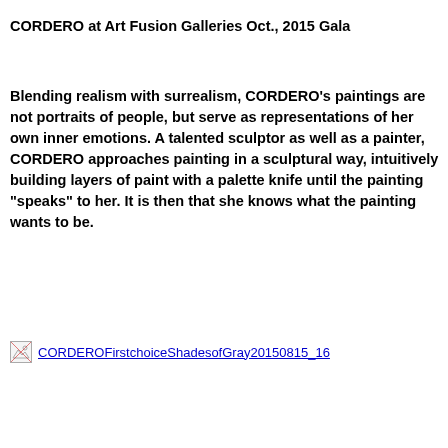CORDERO at Art Fusion Galleries Oct., 2015 Gala
Blending realism with surrealism, CORDERO's paintings are not portraits of people, but serve as representations of her own inner emotions. A talented sculptor as well as a painter, CORDERO approaches painting in a sculptural way, intuitively building layers of paint with a palette knife until the painting "speaks" to her. It is then that she knows what the painting wants to be.
[Figure (photo): Broken image placeholder linking to CORDEROFirstchoiceShadesofGray20150815_16...]